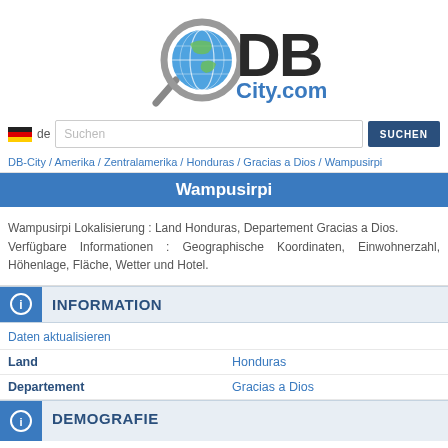[Figure (logo): DBCity.com logo with magnifying glass and globe]
[Figure (infographic): German flag icon with 'de' label and search bar with SUCHEN button]
DB-City / Amerika / Zentralamerika / Honduras / Gracias a Dios / Wampusirpi
Wampusirpi
Wampusirpi Lokalisierung : Land Honduras, Departement Gracias a Dios. Verfügbare Informationen : Geographische Koordinaten, Einwohnerzahl, Höhenlage, Fläche, Wetter und Hotel.
INFORMATION
| Daten aktualisieren |  |
| Land | Honduras |
| Departement | Gracias a Dios |
DEMOGRAFIE